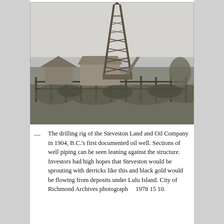[Figure (photo): Black and white historical photograph of the drilling rig of the Steveston Land and Oil Company, showing a tall wooden derrick tower rising above a field with scrubby vegetation, small buildings or sheds at the base, and wooden fencing in the foreground. Taken in 1904.]
— The drilling rig of the Steveston Land and Oil Company in 1904, B.C.'s first documented oil well. Sections of well piping can be seen leaning against the structure. Investors had high hopes that Steveston would be sprouting with derricks like this and black gold would be flowing from deposits under Lulu Island. City of Richmond Archives photograph    1978 15 10.